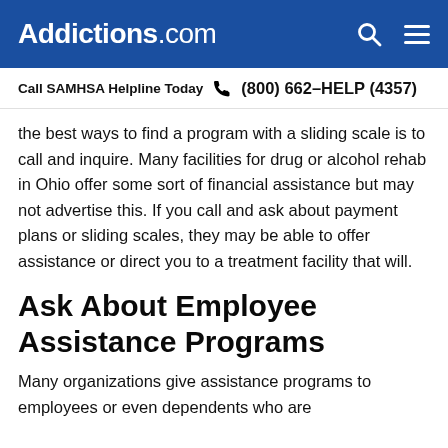Addictions.com
Call SAMHSA Helpline Today  (800) 662-HELP (4357)
the best ways to find a program with a sliding scale is to call and inquire. Many facilities for drug or alcohol rehab in Ohio offer some sort of financial assistance but may not advertise this. If you call and ask about payment plans or sliding scales, they may be able to offer assistance or direct you to a treatment facility that will.
Ask About Employee Assistance Programs
Many organizations give assistance programs to employees or even dependents who are